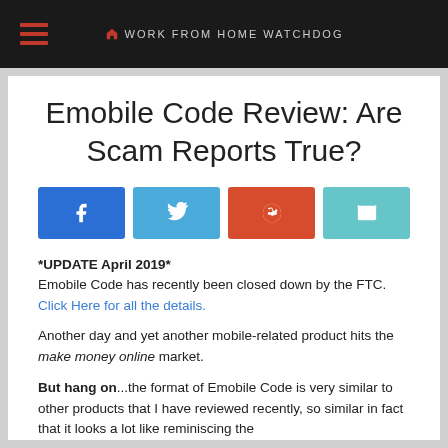WORK FROM HOME WATCHDOG
Emobile Code Review: Are Scam Reports True?
[Figure (infographic): Four social share buttons: Facebook (blue), Twitter (light blue), Reddit (red-orange), Email (teal)]
*UPDATE April 2019*
Emobile Code has recently been closed down by the FTC.
Click Here for all the details.
Another day and yet another mobile-related product hits the make money online market.
But hang on...the format of Emobile Code is very similar to other products that I have reviewed recently, so similar in fact that it looks a lot like reminiscing the...